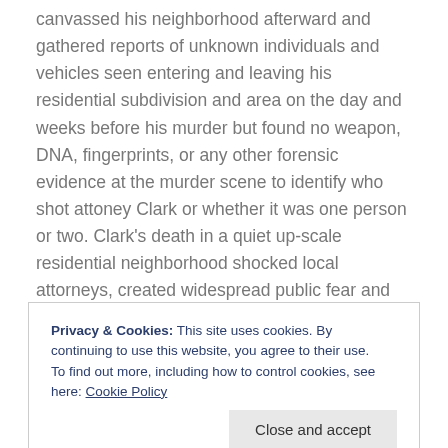canvassed his neighborhood afterward and gathered reports of unknown individuals and vehicles seen entering and leaving his residential subdivision and area on the day and weeks before his murder but found no weapon, DNA, fingerprints, or any other forensic evidence at the murder scene to identify who shot attoney Clark or whether it was one person or two. Clark's death in a quiet up-scale residential neighborhood shocked local attorneys, created widespread public fear and speculation and made regional and national news for months. Most people to this day recall Clark's Feb. 2008 murder and were influenced and convinced by the details of the media storm that followed it.

Some of us are not. We question the substance and conduct of the Rockford Police investigation into the murder of attorney Greg Clark.
Privacy & Cookies: This site uses cookies. By continuing to use this website, you agree to their use.
To find out more, including how to control cookies, see here: Cookie Policy
Close and accept